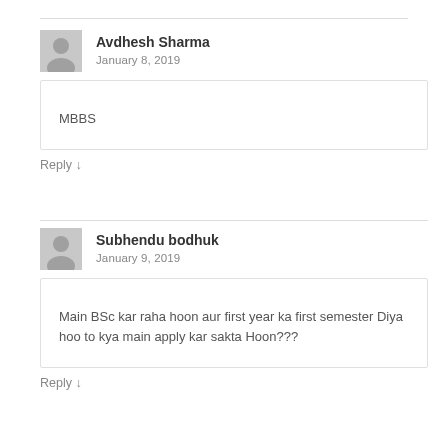Avdhesh Sharma
January 8, 2019
MBBS
Reply ↓
Subhendu bodhuk
January 9, 2019
Main BSc kar raha hoon aur first year ka first semester Diya hoo to kya main apply kar sakta Hoon???
Reply ↓